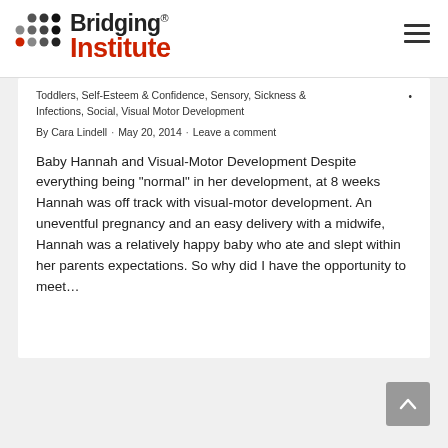Bridging® Institute
Toddlers, Self-Esteem & Confidence, Sensory, Sickness & Infections, Social, Visual Motor Development
By Cara Lindell · May 20, 2014 · Leave a comment
Baby Hannah and Visual-Motor Development Despite everything being "normal" in her development, at 8 weeks Hannah was off track with visual-motor development. An uneventful pregnancy and an easy delivery with a midwife, Hannah was a relatively happy baby who ate and slept within her parents expectations. So why did I have the opportunity to meet…